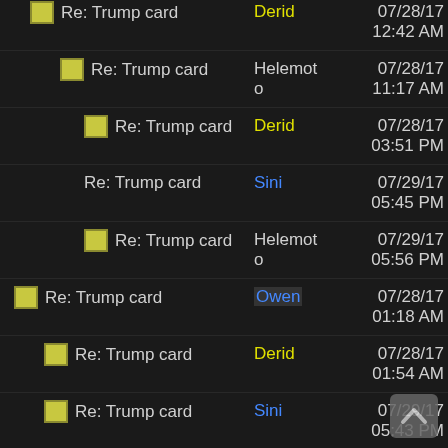Re: Trump card | Derid | 07/28/17 12:42 AM
Re: Trump card | Helemoto | 07/28/17 11:17 AM
Re: Trump card | Derid | 07/28/17 03:51 PM
Re: Trump card | Sini | 07/29/17 05:45 PM
Re: Trump card | Helemoto | 07/29/17 05:56 PM
Re: Trump card | Owen | 07/28/17 01:18 AM
Re: Trump card | Derid | 07/28/17 01:54 AM
Re: Trump card | Sini | 07/29/17 05:43 PM